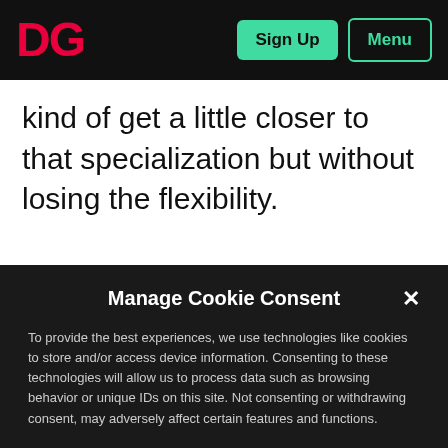DG | Sign Up | Menu
kind of get a little closer to that specialization but without losing the flexibility.
Manage Cookie Consent
To provide the best experiences, we use technologies like cookies to store and/or access device information. Consenting to these technologies will allow us to process data such as browsing behavior or unique IDs on this site. Not consenting or withdrawing consent, may adversely affect certain features and functions.
Accept
View preferences